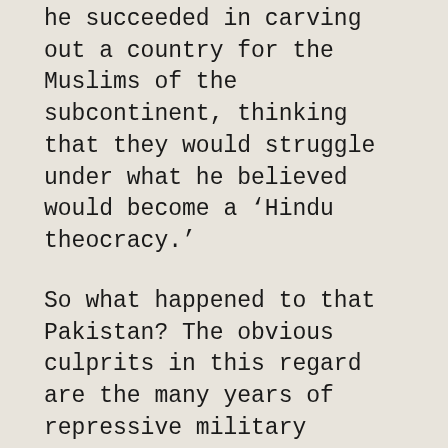he succeeded in carving out a country for the Muslims of the subcontinent, thinking that they would struggle under what he believed would become a 'Hindu theocracy.'
So what happened to that Pakistan? The obvious culprits in this regard are the many years of repressive military regimes and their growing nexus with obscurantist forces that we have had to burden and face. But were the democrats any better?
The 1973 constitution that legitimised religious apartheid was inaugurated under a brilliant and popularly elected Prime Minister and approved by equally elected members of the parliament. And even though the same constitution was further riddled with myopic laws against religious minorities and women by a fanatical and hypocritical 'Islamic' dictatorship, how many democrats that